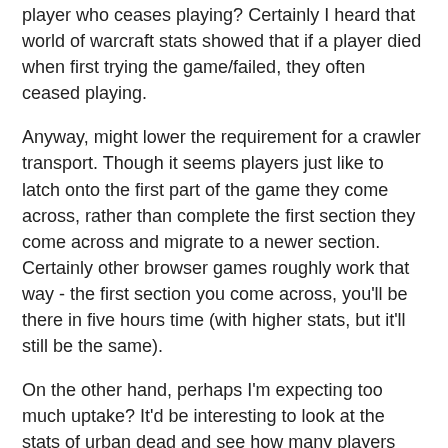player who ceases playing? Certainly I heard that world of warcraft stats showed that if a player died when first trying the game/failed, they often ceased playing.
Anyway, might lower the requirement for a crawler transport. Though it seems players just like to latch onto the first part of the game they come across, rather than complete the first section they come across and migrate to a newer section. Certainly other browser games roughly work that way - the first section you come across, you'll be there in five hours time (with higher stats, but it'll still be the same).
On the other hand, perhaps I'm expecting too much uptake? It'd be interesting to look at the stats of urban dead and see how many players just don't continue after a few clicks. Certainly that's a game where you click about 30 times and miss the zombie pretty much most of them.
That's it, I'll put in the cliche of the moment - zombies! Have to kill some around your farm! And co-incidentally, they have cash on their rotting corpses! Hehe!
Driftworld